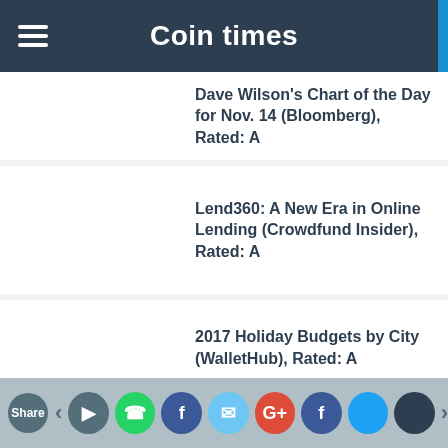Coin times
Dave Wilson's Chart of the Day for Nov. 14 (Bloomberg), Rated: A
Lend360: A New Era in Online Lending (Crowdfund Insider), Rated: A
2017 Holiday Budgets by City (WalletHub), Rated: A
National Real Estate Investor Ranks Magilla Loans a Top Financial Intermediary with $ 1B in Commercial Loans (PR Newswire),